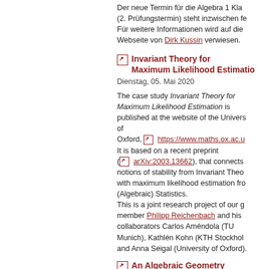Der neue Termin für die Algebra 1 Kla (2. Prüfungstermin) steht inzwischen fe Für weitere Informationen wird auf die Webseite von Dirk Kussin verwiesen.
Invariant Theory for Maximum Likelihood Estimati
Dienstag, 05. Mai 2020
The case study Invariant Theory for Maximum Likelihood Estimation is published at the website of the Univers of Oxford, https://www.maths.ox.ac.u It is based on a recent preprint (arXiv:2003.13662), that connects notions of stability from Invariant Theo with maximum likelihood estimation fro (Algebraic) Statistics. This is a joint research project of our g member Philipp Reichenbach and his collaborators Carlos Améndola (TU Munich), Kathlén Kohn (KTH Stockhol and Anna Seigal (University of Oxford)
An Algebraic Geometry Perspective on Topological Da Analysis